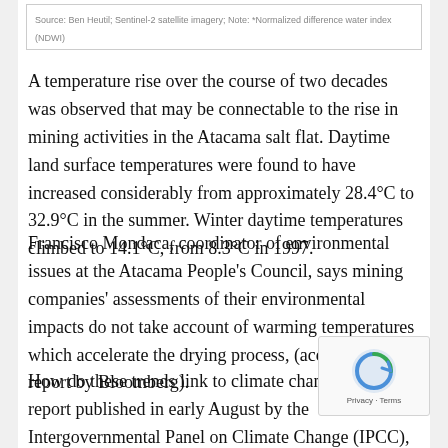Source: Ben Heutil; Sentinel-2 satellite imagery; Note: *Normalized difference water index (NDWI)
A temperature rise over the course of two decades was observed that may be connectable to the rise in mining activities in the Atacama salt flat. Daytime land surface temperatures were found to have increased considerably from approximately 28.4°C to 32.9°C in the summer. Winter daytime temperatures climbed to 14.1°C, from 8.3°C in 1997.
Francisco Mondaca, coordinator of environmental issues at the Atacama People's Council, says mining companies' assessments of their environmental impacts do not take account of warming temperatures which accelerate the drying process, (according to a report by Bloomberg).
How do these trends link to climate change? In a report published in early August by the Intergovernmental Panel on Climate Change (IPCC), researchers presented themselves highly confident in their assumption that current levels of global warming are associated with moderate risks from